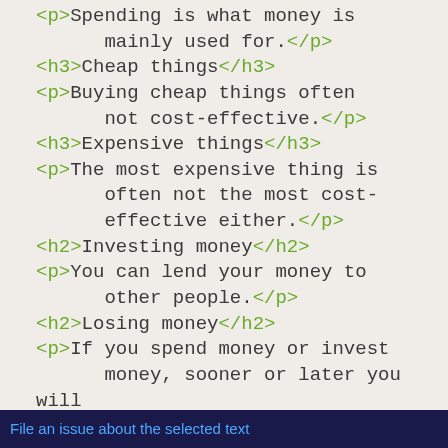<p>Spending is what money is mainly used for.</p>
<h3>Cheap things</h3>
<p>Buying cheap things often not cost-effective.</p>
<h3>Expensive things</h3>
<p>The most expensive thing is often not the most cost-effective either.</p>
<h2>Investing money</h2>
<p>You can lend your money to other people.</p>
<h2>Losing money</h2>
<p>If you spend money or invest money, sooner or later you will lose money.
<h3>Poor judgement</h3>
<p>Usually if you lose money it's because you made a mistake.</p>
File an issue about the selected text